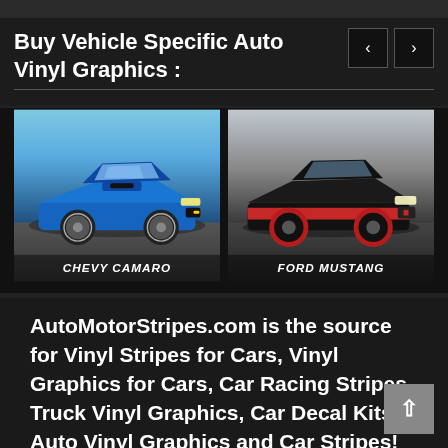Buy Vehicle Specific Auto Vinyl Graphics :
[Figure (photo): Chevy Camaro blue sports car with label CHEVY CAMARO]
[Figure (photo): Ford Mustang black/red sports car with label FORD MUSTANG]
AutoMotorStripes.com is the source for Vinyl Stripes for Cars, Vinyl Graphics for Cars, Car Racing Stripes, Truck Vinyl Graphics, Car Decal Kits, Auto Vinyl Graphics and Car Stripes!